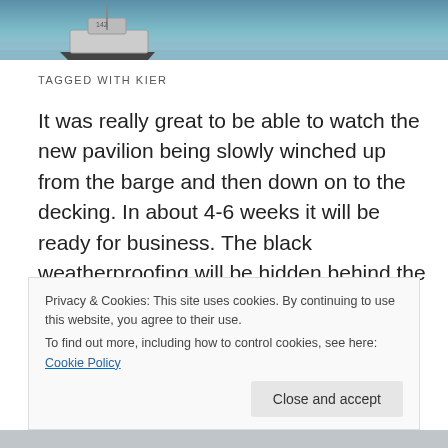[Figure (photo): Top strip showing a boat/barge on water with blue/teal sea background]
TAGGED WITH KIER
It was really great to be able to watch the new pavilion being slowly winched up from the barge and then down on to the decking. In about 4-6 weeks it will be ready for business. The black weatherproofing will be hidden behind the softer cream of the exterior finish, the glazing will be in and it will be clear to all that  the new pavilion will be a real
Privacy & Cookies: This site uses cookies. By continuing to use this website, you agree to their use.
To find out more, including how to control cookies, see here: Cookie Policy
Close and accept